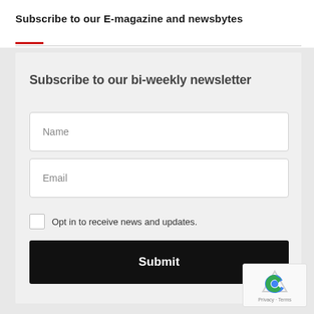Subscribe to our E-magazine and newsbytes
Subscribe to our bi-weekly newsletter
Name
Email
Opt in to receive news and updates.
Submit
Privacy · Terms